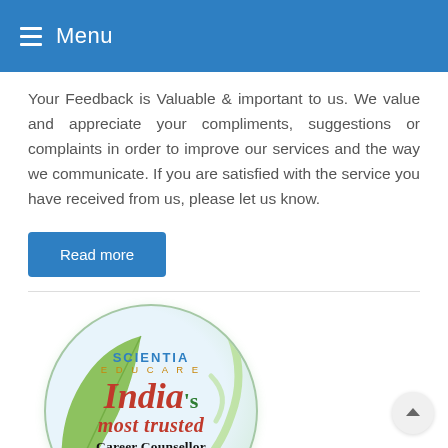Menu
Your Feedback is Valuable & important to us. We value and appreciate your compliments, suggestions or complaints in order to improve our services and the way we communicate. If you are satisfied with the service you have received from us, please let us know.
Read more
[Figure (logo): Scientia Educare logo — circular badge with green leaf design, text: SCIENTIA EDUCARE, India's most trusted Career Counsellor, www.scientiaeducare.com, +91 98640 14444]